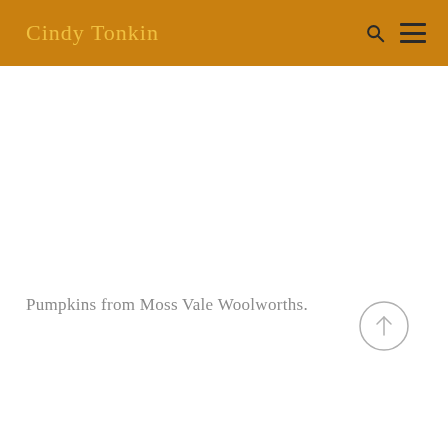Cindy Tonkin
Pumpkins from Moss Vale Woolworths.